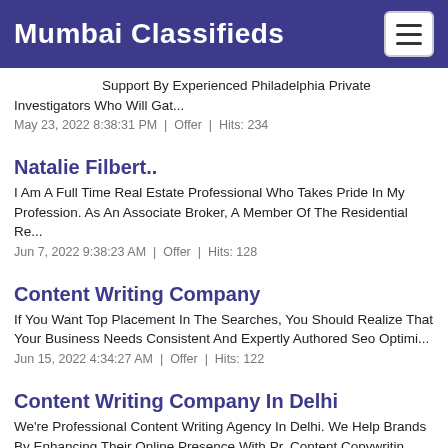Mumbai Classifieds
Support By Experienced Philadelphia Private Investigators Who Will Gat...
May 23, 2022 8:38:31 PM  |  Offer  |  Hits: 234
Natalie Filbert..
I Am A Full Time Real Estate Professional Who Takes Pride In My Profession. As An Associate Broker, A Member Of The Residential Re...
Jun 7, 2022 9:38:23 AM  |  Offer  |  Hits: 128
Content Writing Company
If You Want Top Placement In The Searches, You Should Realize That Your Business Needs Consistent And Expertly Authored Seo Optimi...
Jun 15, 2022 4:34:27 AM  |  Offer  |  Hits: 122
Content Writing Company In Delhi
We're Professional Content Writing Agency In Delhi. We Help Brands By Enhancing Their Online Presence With Pr, Content Copywritin...
Jun 17, 2022 4:28:29 AM  |  Offer  |  Hits: 145